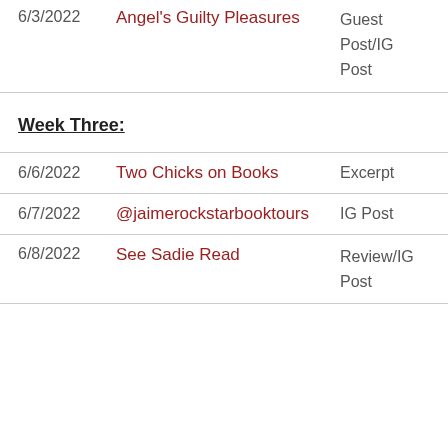| Date | Blog | Type |
| --- | --- | --- |
| 6/3/2022 | Angel's Guilty Pleasures | Guest Post/IG Post |
Week Three:
| Date | Blog | Type |
| --- | --- | --- |
| 6/6/2022 | Two Chicks on Books | Excerpt |
| 6/7/2022 | @jaimerockstarbooktours | IG Post |
| 6/8/2022 | See Sadie Read | Review/IG Post |